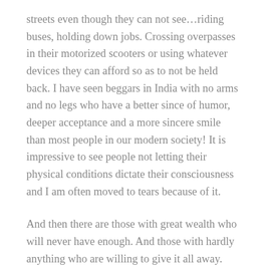streets even though they can not see…riding buses, holding down jobs. Crossing overpasses in their motorized scooters or using whatever devices they can afford so as to not be held back. I have seen beggars in India with no arms and no legs who have a better since of humor, deeper acceptance and a more sincere smile than most people in our modern society! It is impressive to see people not letting their physical conditions dictate their consciousness and I am often moved to tears because of it.
And then there are those with great wealth who will never have enough. And those with hardly anything who are willing to give it all away. This is a complex world in which we live. A world full of opposites – of pain and joy, suffering and celebration, wealth and poverty. It is not a “fair” world but it is the way it is. Call it karma. Call it luck. Call it fortune or misfortune. Call it what you will but by all means, call it something you can make peace with. Paint your imagination whatever color will allow you to live fully while